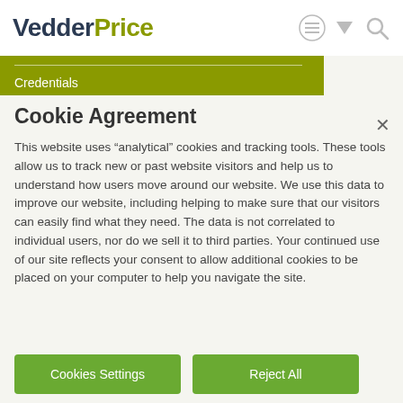VedderPrice
Credentials
Cookie Agreement
This website uses “analytical” cookies and tracking tools. These tools allow us to track new or past website visitors and help us to understand how users move around our website. We use this data to improve our website, including helping to make sure that our visitors can easily find what they need. The data is not correlated to individual users, nor do we sell it to third parties. Your continued use of our site reflects your consent to allow additional cookies to be placed on your computer to help you navigate the site.
Cookies Settings
Reject All